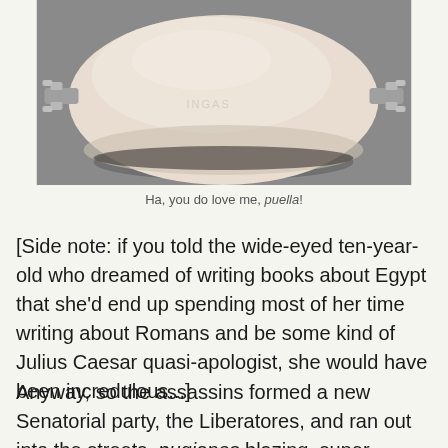[Figure (photo): A round pale ceramic or stone object with metal bracket clips on its sides, photographed on a grey background, seen from above at a slight angle.]
Ha, you do love me, puella!
[Side note: if you told the wide-eyed ten-year-old who dreamed of writing books about Egypt that she'd end up spending most of her time writing about Romans and be some kind of Julius Caesar quasi-apologist, she would have been incredulous...]
Anyway, so the assassins formed a new Senatorial party, the Liberatores, and ran out into the streets, pugiones blazing, super-stoked to tell everyone in Rome about how they had saved the Republic.